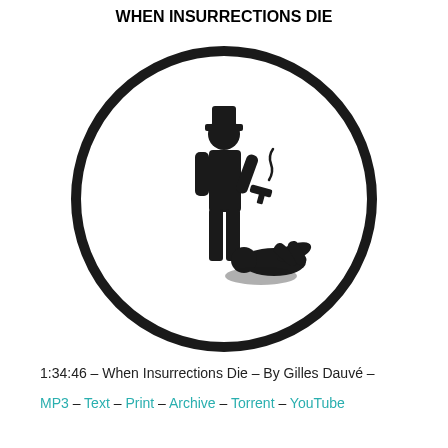WHEN INSURRECTIONS DIE
[Figure (illustration): A circular black-bordered icon showing a silhouette of a standing figure (possibly a police officer or authority figure) holding a smoking gun, looking down at a fallen figure on the ground.]
1:34:46 – When Insurrections Die – By Gilles Dauvé –
MP3 – Text – Print – Archive – Torrent – YouTube